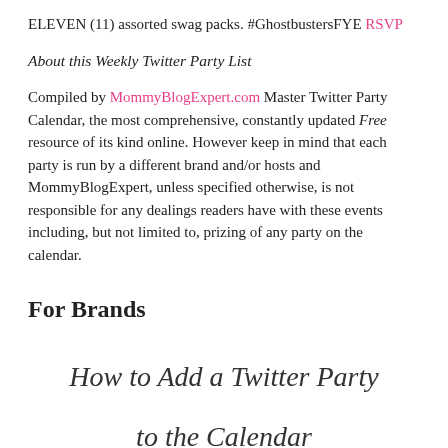ELEVEN (11) assorted swag packs. #GhostbustersFYE RSVP
About this Weekly Twitter Party List
Compiled by MommyBlogExpert.com Master Twitter Party Calendar, the most comprehensive, constantly updated Free resource of its kind online. However keep in mind that each party is run by a different brand and/or hosts and MommyBlogExpert, unless specified otherwise, is not responsible for any dealings readers have with these events including, but not limited to, prizing of any party on the calendar.
For Brands
How to Add a Twitter Party to the Calendar